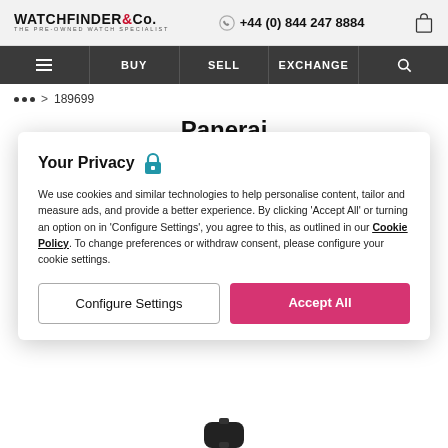WATCHFINDER & Co. THE PRE-OWNED WATCH SPECIALIST | +44 (0) 844 247 8884
BUY | SELL | EXCHANGE
... > 189699
Panerai
Luminor GMT
PAM00335
Your Privacy
We use cookies and similar technologies to help personalise content, tailor and measure ads, and provide a better experience. By clicking 'Accept All' or turning an option on in 'Configure Settings', you agree to this, as outlined in our Cookie Policy. To change preferences or withdraw consent, please configure your cookie settings.
Configure Settings
Accept All